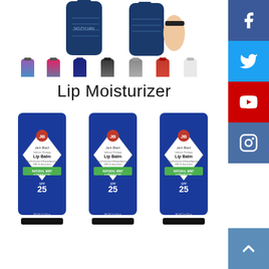[Figure (photo): Water bottles product image - large blue bottles at top, row of colorful water bottles below in various colors (purple, pink, navy, black, gray, red, white)]
Lip Moisturizer
[Figure (photo): Three blue Jack Black Intense Therapy Lip Balm tubes with Natural Mint & Shea Butter SPF 25 labels]
[Figure (illustration): Social media sidebar buttons: Facebook (blue), Twitter (blue), YouTube (red), Instagram (gray-blue), and scroll-up button (blue)]